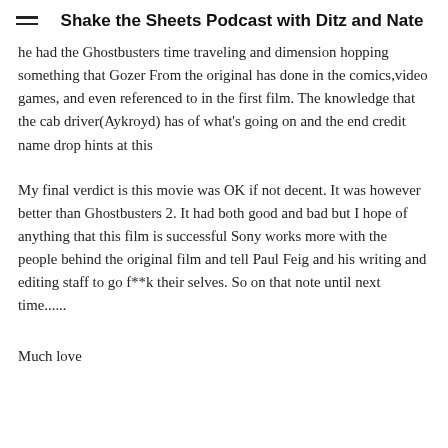Shake the Sheets Podcast with Ditz and Nate
he had the Ghostbusters time traveling and dimension hopping something that Gozer From the original has done in the comics,video games, and even referenced to in the first film. The knowledge that the cab driver(Aykroyd) has of what's going on and the end credit name drop hints at this
My final verdict is this movie was OK if not decent. It was however better than Ghostbusters 2. It had both good and bad but I hope of anything that this film is successful Sony works more with the people behind the original film and tell Paul Feig and his writing and editing staff to go f**k their selves. So on that note until next time......
Much love